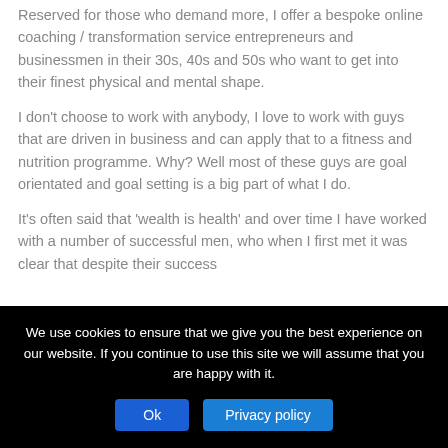Reserved for those who demand more, I offer a bespoke online coaching / transformation service entrepreneurs and businessmen in their 30s, 40s and 50s who want to get into their finest physical and mental shape.
I don't choose to work with anybody, I love to work with guys that are driven in business and can apply that to a fitness and nutrition programme. Why? Well most of these guys are goal orientated and goal setting is a big part of what I do.
It's often said that 'wealth is health' and over time I have worked with a number of successful men, who when I first met it was clear that despite their success
We use cookies to ensure that we give you the best experience on our website. If you continue to use this site we will assume that you are happy with it.